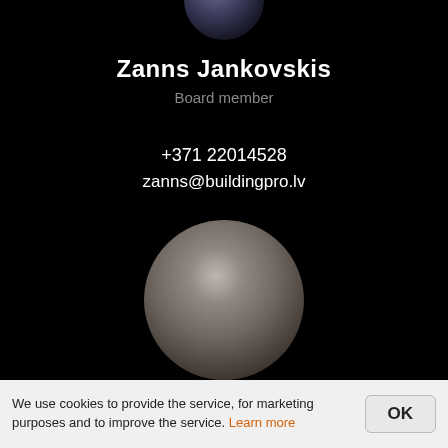[Figure (photo): Partially visible circular profile photo avatar at top of page, cropped]
Zanns Jankovskis
Board member
+371 22014528
zanns@buildingpro.lv
[Figure (photo): Circular profile photo of Arno Palgi, blurred/dark portrait]
Arno Palgi
We use cookies to provide the service, for marketing purposes and to improve the service. Learn more